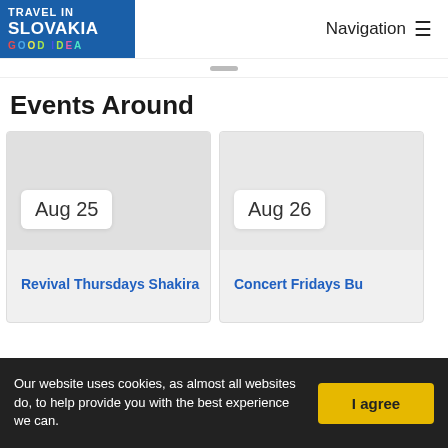TRAVEL IN SLOVAKIA GOOD IDEA | Navigation
Events Around
[Figure (screenshot): Event card for Revival Thursdays Shakira with date badge showing Aug 25]
Revival Thursdays Shakira
[Figure (screenshot): Event card for Concert Fridays Bu with date badge showing Aug 26]
Concert Fridays Bu
Our website uses cookies, as almost all websites do, to help provide you with the best experience we can.